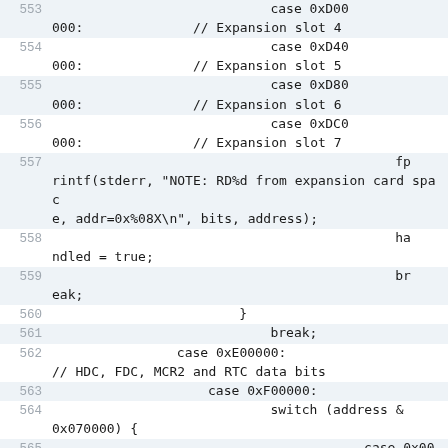553  case 0xD00
000:              // Expansion slot 4
554  case 0xD40
000:              // Expansion slot 5
555  case 0xD80
000:              // Expansion slot 6
556  case 0xDC0
000:              // Expansion slot 7
557  fprintf(stderr, "NOTE: RD%d from expansion card space, addr=0x%08X\n", bits, address);
558  handled = true;
559  break;
560  }
561  break;
562  case 0xE00000:
// HDC, FDC, MCR2 and RTC data bits
563  case 0xF00000:
564  switch (address & 0x070000) {
565  case 0x000
000:              // [ef][08]xxxx ==> WD1010 hard di